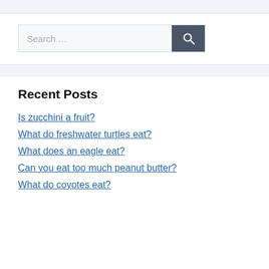Search …
Recent Posts
Is zucchini a fruit?
What do freshwater turtles eat?
What does an eagle eat?
Can you eat too much peanut butter?
What do coyotes eat?